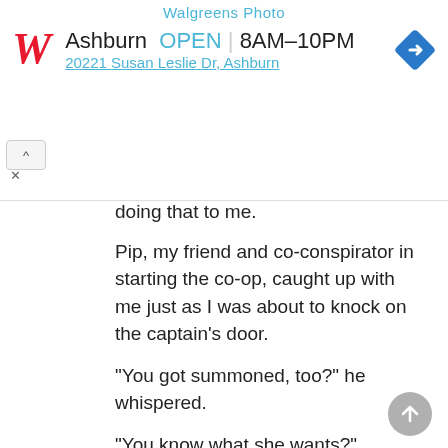[Figure (screenshot): Walgreens ad banner showing Walgreens Photo header, Walgreens 'W' logo in red, Ashburn OPEN 8AM-10PM text in teal and black, address '20221 Susan Leslie Dr, Ashburn', and a blue diamond navigation icon.]
doing that to me.
Pip, my friend and co-conspirator in starting the co-op, caught up with me just as I was about to knock on the captain’s door.
“You got summoned, too?” he whispered.
“You know what she wants?”
“I can make a pretty good guess,” he said ruefully.
We both pulled back our shoulders to straighten our postures, took deep